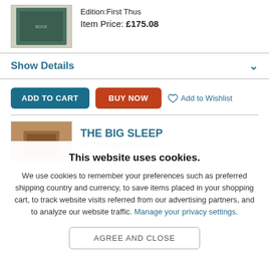[Figure (photo): Product image of a book with green cover, partially visible]
Edition:First Thus
Item Price: £175.08
Show Details
ADD TO CART
BUY NOW
Add to Wishlist
[Figure (photo): Product image of a wooden-background book cover]
THE BIG SLEEP
This website uses cookies.
We use cookies to remember your preferences such as preferred shipping country and currency, to save items placed in your shopping cart, to track website visits referred from our advertising partners, and to analyze our website traffic. Manage your privacy settings.
AGREE AND CLOSE